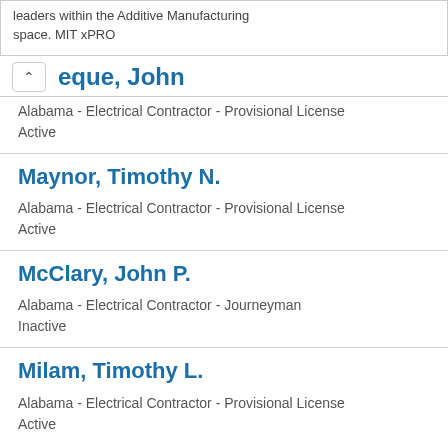leaders within the Additive Manufacturing space. MIT xPRO
eque, John
Alabama - Electrical Contractor - Provisional License
Active
Maynor, Timothy N.
Alabama - Electrical Contractor - Provisional License
Active
McClary, John P.
Alabama - Electrical Contractor - Journeyman
Inactive
Milam, Timothy L.
Alabama - Electrical Contractor - Provisional License
Active